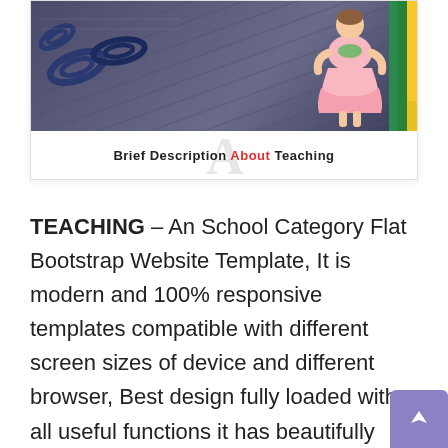[Figure (photo): Card with a photo showing school items: paperclips on dark background, a child in pink dress, pencils. Below photo is text 'Brief Description About Teaching' with a large decorative 'A' watermark.]
TEACHING – An School Category Flat Bootstrap Website Template, It is modern and 100% responsive templates compatible with different screen sizes of device and different browser, Best design fully loaded with all useful functions it has beautifully usage of Flat icons and fantastic Hover animations in the design and enhances appearance. well documented design to showcase your institutions all around the internet in a